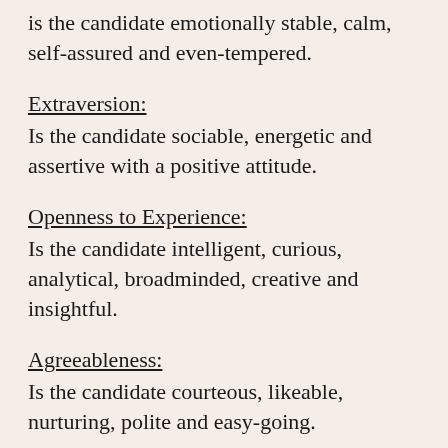is the candidate emotionally stable, calm, self-assured and even-tempered.
Extraversion:
Is the candidate sociable, energetic and assertive with a positive attitude.
Openness to Experience:
Is the candidate intelligent, curious, analytical, broadminded, creative and insightful.
Agreeableness:
Is the candidate courteous, likeable, nurturing, polite and easy-going.
Review this Manual for more information regarding the NYPD Psychologists use of the California POST